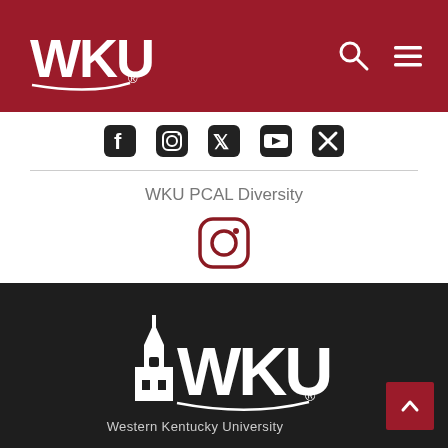WKU
[Figure (logo): Social media icons row: Facebook, Instagram, Twitter, YouTube, X]
WKU PCAL Diversity
[Figure (logo): Instagram icon (dark red/maroon outline style)]
[Figure (logo): WKU logo with building icon in white on dark background, Western Kentucky University text below]
Western Kentucky University